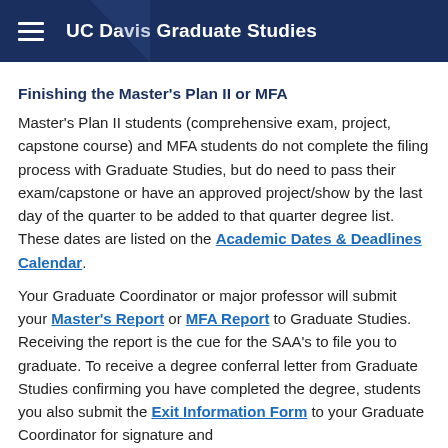UC Davis Graduate Studies
Finishing the Master's Plan II or MFA
Master's Plan II students (comprehensive exam, project, capstone course) and MFA students do not complete the filing process with Graduate Studies, but do need to pass their exam/capstone or have an approved project/show by the last day of the quarter to be added to that quarter degree list.  These dates are listed on the Academic Dates & Deadlines Calendar.
Your Graduate Coordinator or major professor will submit your Master's Report or MFA Report to Graduate Studies.  Receiving the report is the cue for the SAA's to file you to graduate.  To receive a degree conferral letter from Graduate Studies confirming you have completed the degree, students you also submit the Exit Information Form to your Graduate Coordinator for signature and